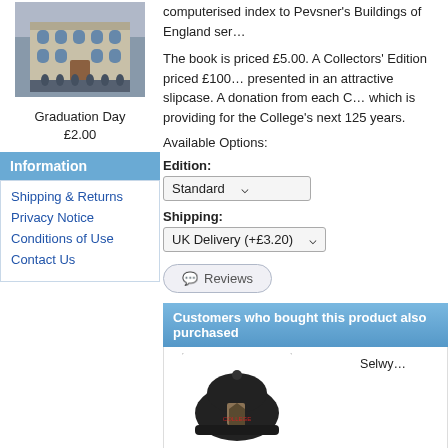[Figure (photo): Graduation Day photo showing a building facade with people gathered outside]
Graduation Day
£2.00
Information
Shipping & Returns
Privacy Notice
Conditions of Use
Contact Us
computerised index to Pevsner's Buildings of England ser...
The book is priced £5.00. A Collectors' Edition priced £100... presented in an attractive slipcase. A donation from each C... which is providing for the College's next 125 years.
Available Options:
Edition:
Standard
Shipping:
UK Delivery (+£3.20)
Reviews
Customers who bought this product also purchased
[Figure (photo): Black baseball cap with college crest logo]
Baseball Cap
Selwy...
[Figure (photo): Canvas tote bag with red handles and college shield logo]